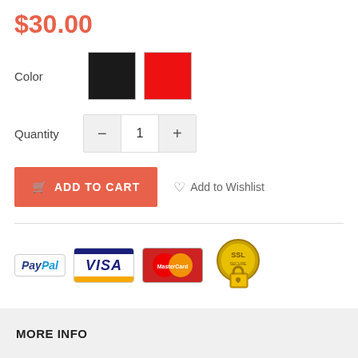$30.00
Color
[Figure (infographic): Two color swatches: black square and red square for color selection]
Quantity
[Figure (infographic): Quantity selector with minus button, value 1, and plus button]
[Figure (infographic): ADD TO CART button (salmon/red) and Add to Wishlist link]
[Figure (infographic): Payment method badges: PayPal, Visa, MasterCard, and SSL security badge]
MORE INFO